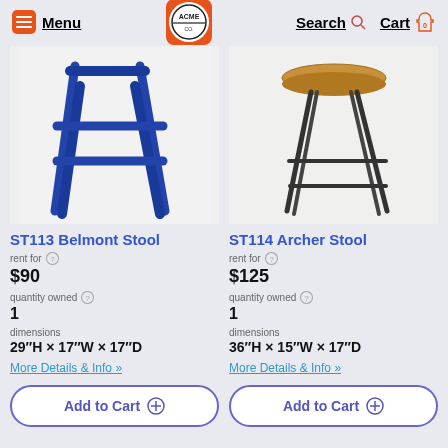Menu | ACME | Search | Cart 0
[Figure (photo): Blue wooden bar stool (Belmont Stool) on white background]
ST113 Belmont Stool
rent for $90
quantity owned 1
dimensions 29"H × 17"W × 17"D
More Details & Info »
Add to Cart
[Figure (photo): Black metal bar stool with round wood seat (Archer Stool) on light grey background]
ST114 Archer Stool
rent for $125
quantity owned 1
dimensions 36"H × 15"W × 17"D
More Details & Info »
Add to Cart